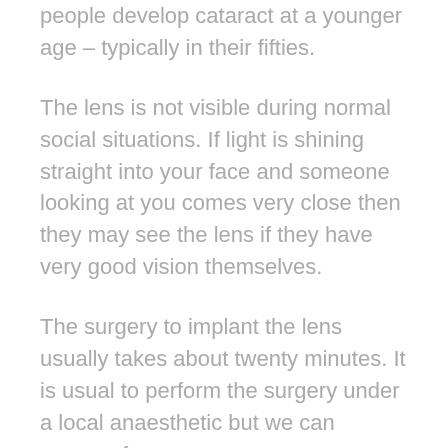people develop cataract at a younger age – typically in their fifties.
The lens is not visible during normal social situations. If light is shining straight into your face and someone looking at you comes very close then they may see the lens if they have very good vision themselves.
The surgery to implant the lens usually takes about twenty minutes. It is usual to perform the surgery under a local anaesthetic but we can arrange for a